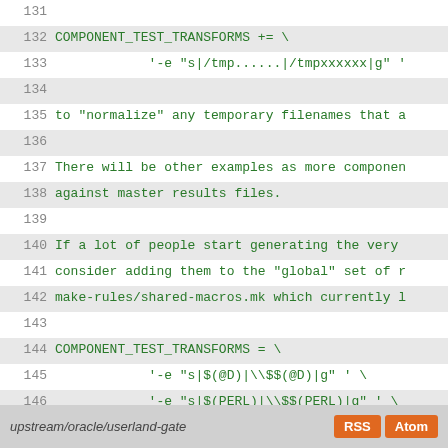131
132 COMPONENT_TEST_TRANSFORMS += \
133     '-e "s|/tmp......|/tmpxxxxxx|g" '
134
135 to "normalize" any temporary filenames that a
136
137 There will be other examples as more componen
138 against master results files.
139
140 If a lot of people start generating the very
141 consider adding them to the "global" set of r
142 make-rules/shared-macros.mk which currently l
143
144 COMPONENT_TEST_TRANSFORMS = \
145     '-e "s|$(@D)|\\$$(@D)|g" ' \
146     '-e "s|$(PERL)|\\$$(PERL)|g" ' \
147     '-e "s|$(SOURCE_DIR)|\\$$(SOURCE_DIR)
148
149 When your master test file(s) are in good sha
150 them to your workspace.
upstream/oracle/userland-gate  RSS  Atom